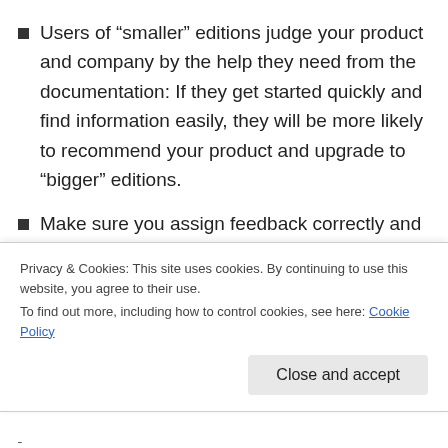Users of “smaller” editions judge your product and company by the help they need from the documentation: If they get started quickly and find information easily, they will be more likely to recommend your product and upgrade to “bigger” editions.
Make sure you assign feedback correctly and don’t mistake criticism of older versions for feedback on your more recent efforts.
For how long have you worked in the industry? <em>cont...</em>
Privacy & Cookies: This site uses cookies. By continuing to use this website, you agree to their use.
To find out more, including how to control cookies, see here: Cookie Policy